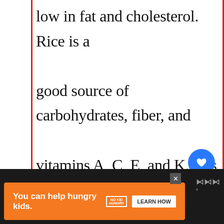low in fat and cholesterol. Rice is a good source of carbohydrates, fiber, and vitamins A, C, E, and K. It is also a great source of minerals such as calcium, phosphorous, potassium, and magnesium. Both chicken and rice are
[Figure (screenshot): Blue circular heart/like button UI element]
[Figure (screenshot): Gray circular share button UI element]
[Figure (screenshot): What's Next panel showing a food image thumbnail and text 'WHAT'S NEXT → What happens if you eat...']
[Figure (screenshot): Advertisement banner: orange background, 'You can help hungry kids.' with No Kid Hungry logo and LEARN HOW button]